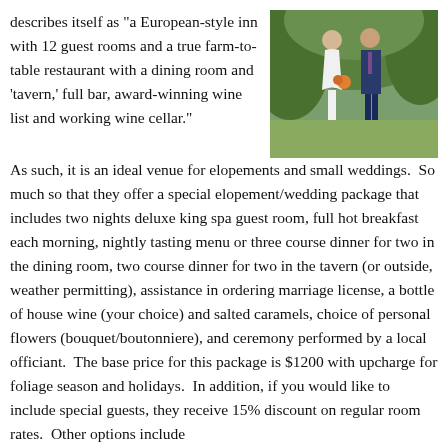describes itself as "a European-style inn with 12 guest rooms and a true farm-to-table restaurant with a dining room and 'tavern,' full bar, award-winning wine list and working wine cellar." As such, it is an ideal venue for elopements and small weddings.  So much so that they offer a special elopement/wedding package that includes two nights deluxe king spa guest room, full hot breakfast each morning, nightly tasting menu or three course dinner for two in the dining room, two course dinner for two in the tavern (or outside, weather permitting), assistance in ordering marriage license, a bottle of house wine (your choice) and salted caramels, choice of personal flowers (bouquet/boutonniere), and ceremony performed by a local officiant.  The base price for this package is $1200 with upcharge for foliage season and holidays.  In addition, if you would like to include special guests, they receive 15% discount on regular room rates.  Other options include
[Figure (photo): A bride and groom standing outdoors in a wooded/garden setting. The bride wears a white dress and the groom wears a dark navy suit.]